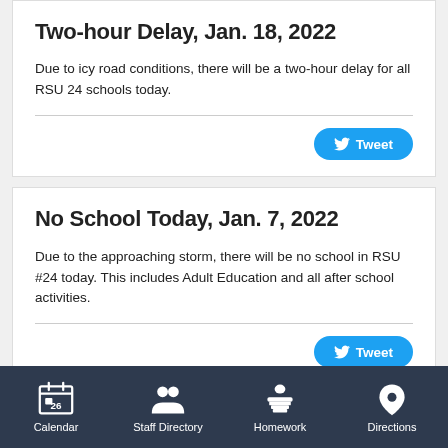Two-hour Delay, Jan. 18, 2022
Due to icy road conditions, there will be a two-hour delay for all RSU 24 schools today.
[Figure (other): Tweet button with Twitter bird icon]
No School Today, Jan. 7, 2022
Due to the approaching storm, there will be no school in RSU #24 today. This includes Adult Education and all after school activities.
[Figure (other): Tweet button with Twitter bird icon (partially visible)]
Calendar  Staff Directory  Homework  Directions